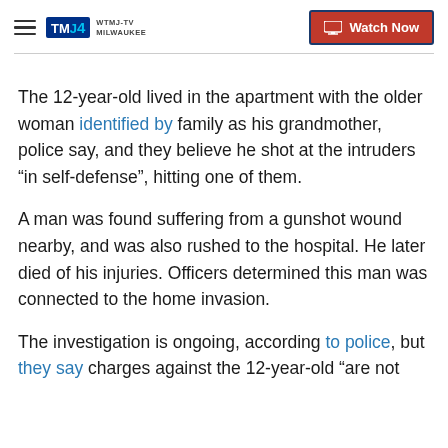WTMJ-TV Milwaukee | Watch Now
The 12-year-old lived in the apartment with the older woman identified by family as his grandmother, police say, and they believe he shot at the intruders “in self-defense”, hitting one of them.
A man was found suffering from a gunshot wound nearby, and was also rushed to the hospital. He later died of his injuries. Officers determined this man was connected to the home invasion.
The investigation is ongoing, according to police, but they say charges against the 12-year-old “are not